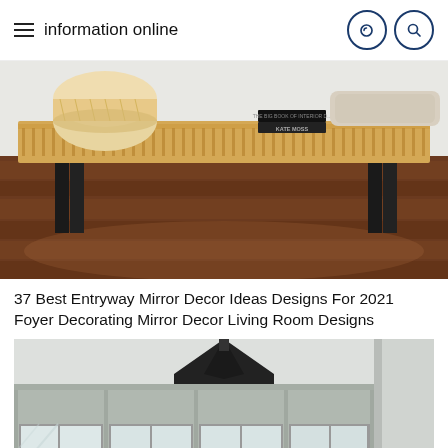information online
[Figure (photo): A wooden slat bench with black metal legs on a dark hardwood floor. A woven basket and stacked books (including one labeled KATE MOSS) sit on top of the bench.]
37 Best Entryway Mirror Decor Ideas Designs For 2021 Foyer Decorating Mirror Decor Living Room Designs
[Figure (photo): Interior entryway with gray wainscoting panels, a multi-pane window, and a black octagonal pendant light hanging from the ceiling.]